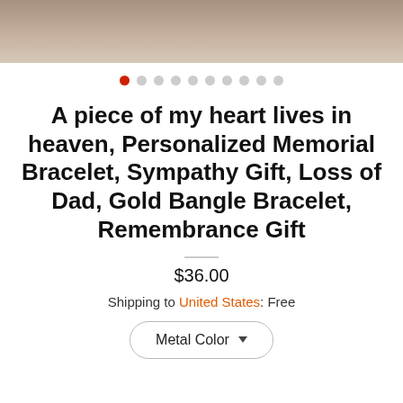[Figure (photo): Top portion of a product image showing a bracelet on a wooden surface background]
[Figure (other): Dot navigation indicator with 10 dots, first dot highlighted in red]
A piece of my heart lives in heaven, Personalized Memorial Bracelet, Sympathy Gift, Loss of Dad, Gold Bangle Bracelet, Remembrance Gift
$36.00
Shipping to United States: Free
Metal Color